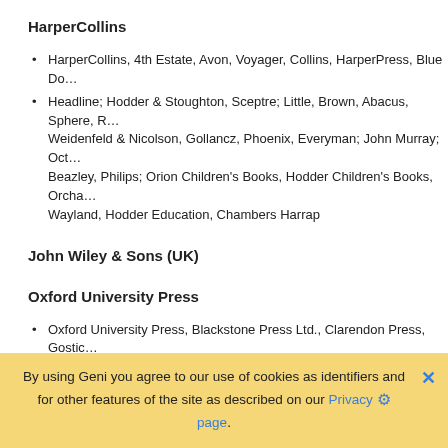HarperCollins
HarperCollins, 4th Estate, Avon, Voyager, Collins, HarperPress, Blue Do…
Headline; Hodder & Stoughton, Sceptre; Little, Brown, Abacus, Sphere, R… Weidenfeld & Nicolson, Gollancz, Phoenix, Everyman; John Murray; Oct… Beazley, Philips; Orion Children's Books, Hodder Children's Books, Orcha… Wayland, Hodder Education, Chambers Harrap
John Wiley & Sons (UK)
Oxford University Press
Oxford University Press, Blackstone Press Ltd., Clarendon Press, Gostic… Oceana Publications
Pan Macmillan
Pan Books, Picador, Macmillan New Writing, Macmillan, Boxtree, Sidgwic… Kingfisher
By using Geni you agree to our use of cookies as identifiers and for other features of the site as described on our Privacy page.